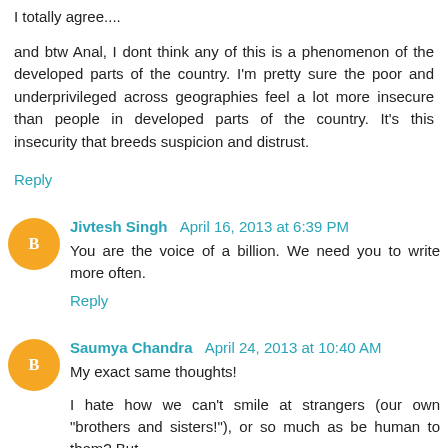I totally agree....
and btw Anal, I dont think any of this is a phenomenon of the developed parts of the country. I'm pretty sure the poor and underprivileged across geographies feel a lot more insecure than people in developed parts of the country. It's this insecurity that breeds suspicion and distrust.
Reply
Jivtesh Singh  April 16, 2013 at 6:39 PM
You are the voice of a billion. We need you to write more often.
Reply
Saumya Chandra  April 24, 2013 at 10:40 AM
My exact same thoughts!
I hate how we can't smile at strangers (our own "brothers and sisters!"), or so much as be human to them? But